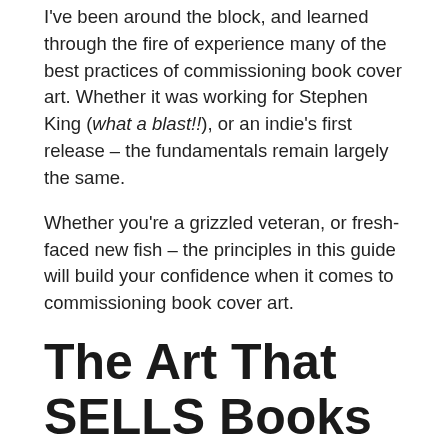I've been around the block, and learned through the fire of experience many of the best practices of commissioning book cover art. Whether it was working for Stephen King (what a blast!!), or an indie's first release – the fundamentals remain largely the same.
Whether you're a grizzled veteran, or fresh-faced new fish – the principles in this guide will build your confidence when it comes to commissioning book cover art.
The Art That SELLS Books
Before we get the gears moving, let's take a moment to REALLY think about what sells books. Believe it or